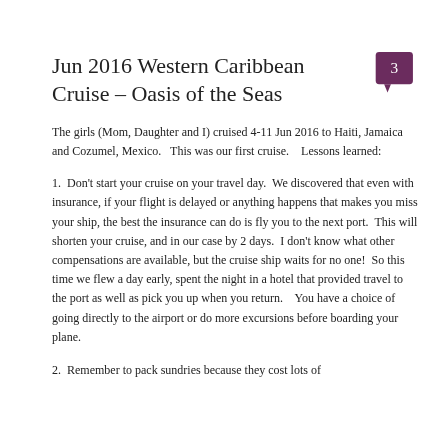Jun 2016 Western Caribbean Cruise – Oasis of the Seas
The girls (Mom, Daughter and I) cruised 4-11 Jun 2016 to Haiti, Jamaica and Cozumel, Mexico.   This was our first cruise.    Lessons learned:
1.  Don't start your cruise on your travel day.  We discovered that even with insurance, if your flight is delayed or anything happens that makes you miss your ship, the best the insurance can do is fly you to the next port.  This will shorten your cruise, and in our case by 2 days.  I don't know what other compensations are available, but the cruise ship waits for no one!  So this time we flew a day early, spent the night in a hotel that provided travel to the port as well as pick you up when you return.   You have a choice of going directly to the airport or do more excursions before boarding your plane.
2.  Remember to pack sundries because they cost lots of